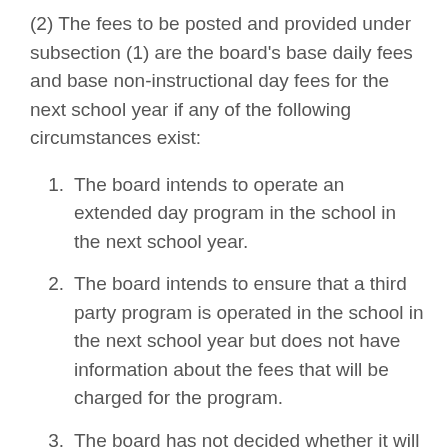(2) The fees to be posted and provided under subsection (1) are the board's base daily fees and base non-instructional day fees for the next school year if any of the following circumstances exist:
1. The board intends to operate an extended day program in the school in the next school year.
2. The board intends to ensure that a third party program is operated in the school in the next school year but does not have information about the fees that will be charged for the program.
3. The board has not decided whether it will